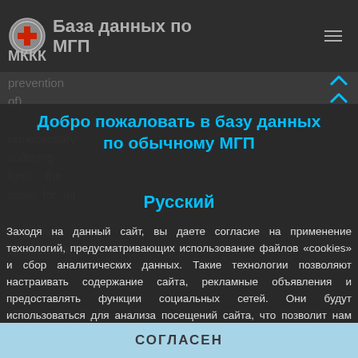База данных по МГП — МККК
prevention of) unnecessary suffering form the basis for all targeting consideratio
Добро пожаловать в базу данных по обычному МГП
Русский
Заходя на данный сайт, вы даете согласие на применение технологий, предусматривающих использование файлов «cookies» и сбор аналитических данных. Такие технологии позволяют настраивать содержание сайта, рекламные объявления и предоставлять функции социальных сетей. Они будут использоваться для анализа посещений сайта, что позволит нам понять предпочтения посетителей и улучшить предоставляемые услуги. Узнать больше
СОГЛАСЕН